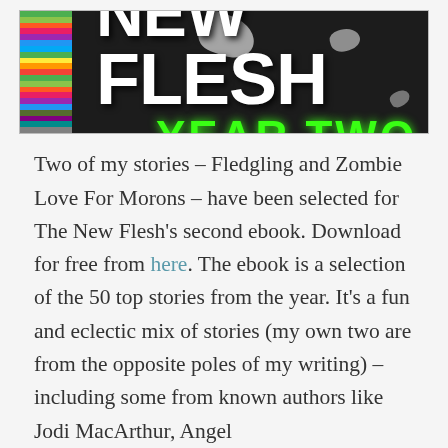[Figure (illustration): Book cover image for 'New Flesh Year Two' — dark/black background with white distressed block lettering reading NEW FLESH, bright green text reading YEAR TWO, and a vertical strip of TV color bars on the left side.]
Two of my stories – Fledgling and Zombie Love For Morons – have been selected for The New Flesh's second ebook. Download for free from here. The ebook is a selection of the 50 top stories from the year. It's a fun and eclectic mix of stories (my own two are from the opposite poles of my writing) – including some from known authors like Jodi MacArthur, Angel...